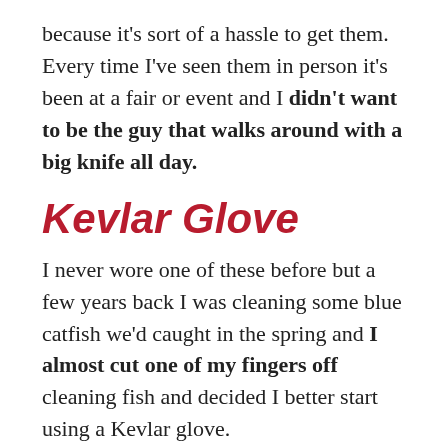because it's sort of a hassle to get them. Every time I've seen them in person it's been at a fair or event and I didn't want to be the guy that walks around with a big knife all day.
Kevlar Glove
I never wore one of these before but a few years back I was cleaning some blue catfish we'd caught in the spring and I almost cut one of my fingers off cleaning fish and decided I better start using a Kevlar glove.
I don't wear this all the time now but try to as much as I can for safety reasons. If you're not